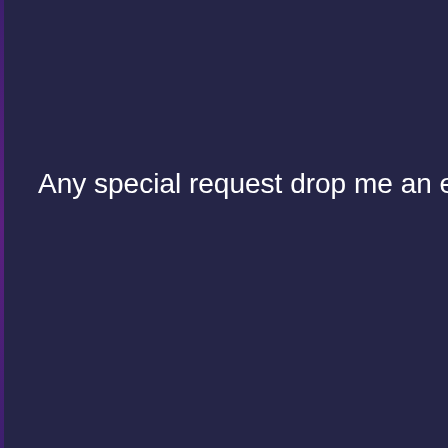Any special request drop me an email an
I can give you every fantasy you have ev
Let me relax and entertain you, and mak
Once you have had a taste of what i hav